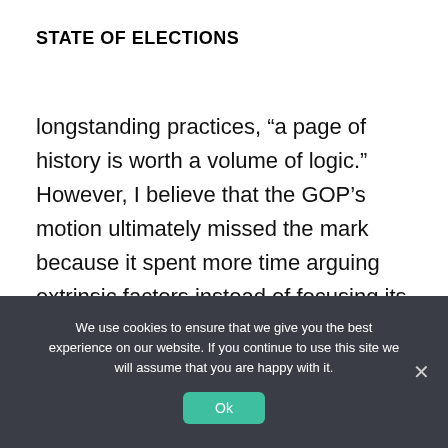STATE OF ELECTIONS
longstanding practices, “a page of history is worth a volume of logic.” However, I believe that the GOP’s motion ultimately missed the mark because it spent more time arguing extrinsic factors instead of focusing its argument on how the governor’s actions were not taken on an individualized basis and were therefore
We use cookies to ensure that we give you the best experience on our website. If you continue to use this site we will assume that you are happy with it.